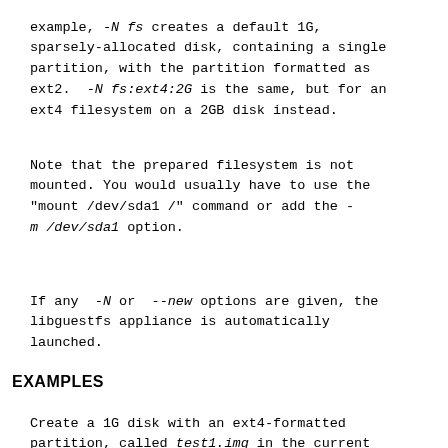example, -N fs creates a default 1G, sparsely-allocated disk, containing a single partition, with the partition formatted as ext2. -N fs:ext4:2G is the same, but for an ext4 filesystem on a 2GB disk instead.
Note that the prepared filesystem is not mounted. You would usually have to use the "mount /dev/sda1 /" command or add the -m /dev/sda1 option.
If any -N or --new options are given, the libguestfs appliance is automatically launched.
EXAMPLES
Create a 1G disk with an ext4-formatted partition, called test1.img in the current directory: